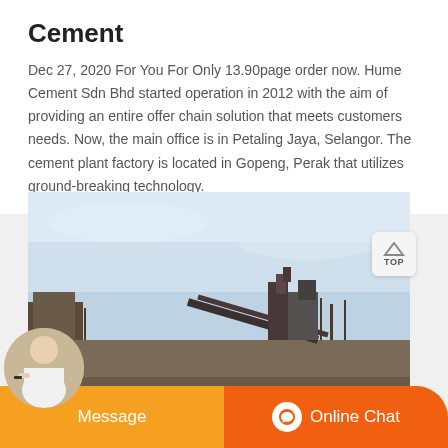Cement
Dec 27, 2020 For You For Only 13.90page order now. Hume Cement Sdn Bhd started operation in 2012 with the aim of providing an entire offer chain solution that meets customers needs. Now, the main office is in Petaling Jaya, Selangor. The cement plant factory is located in Gopeng, Perak that utilizes ground-breaking technology.
[Figure (photo): Outdoor photograph of an industrial cement plant facility with heavy machinery, conveyor belts, and industrial equipment silhouetted against a pale overcast sky. Sparse bare trees visible in the background.]
[Figure (screenshot): TOP navigation button in upper right corner]